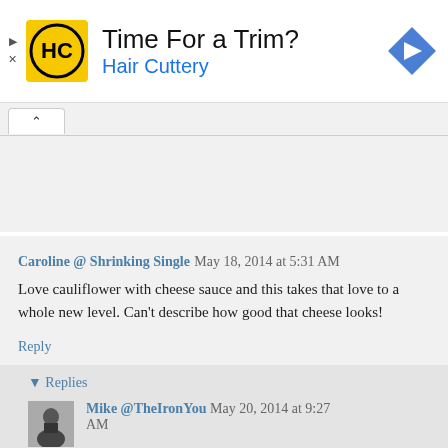[Figure (other): Hair Cuttery advertisement banner with HC logo, text 'Time For a Trim?' and 'Hair Cuttery', and a blue navigation arrow icon]
Caroline @ Shrinking Single May 18, 2014 at 5:31 AM
Love cauliflower with cheese sauce and this takes that love to a whole new level. Can't describe how good that cheese looks!
Reply
▾ Replies
Mike @TheIronYou May 20, 2014 at 9:27 AM